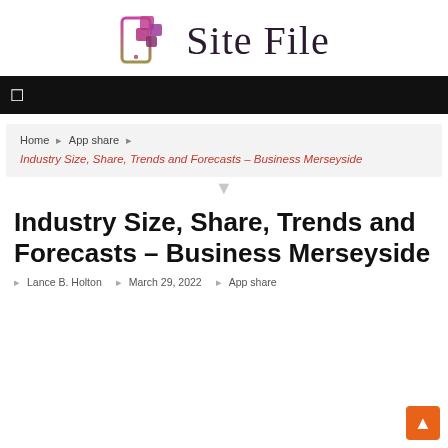[Figure (logo): Site File logo with stylized phone/tablet icon in pink-purple gradient and text 'Site File' in serif font]
navigation bar with menu icon
Home ▸ App share ▸ Industry Size, Share, Trends and Forecasts – Business Merseyside
Industry Size, Share, Trends and Forecasts – Business Merseyside
▸ Lance B. Holton   ▸ March 29, 2022   ▸ App share